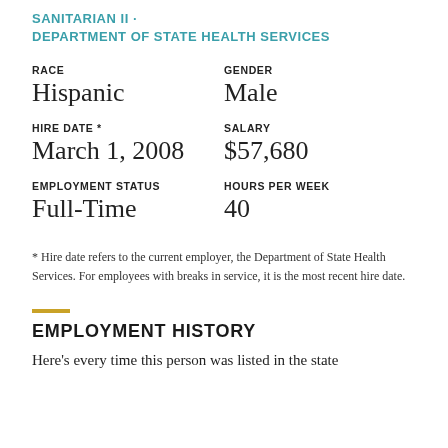SANITARIAN II · DEPARTMENT OF STATE HEALTH SERVICES
RACE
Hispanic
GENDER
Male
HIRE DATE *
March 1, 2008
SALARY
$57,680
EMPLOYMENT STATUS
Full-Time
HOURS PER WEEK
40
* Hire date refers to the current employer, the Department of State Health Services. For employees with breaks in service, it is the most recent hire date.
EMPLOYMENT HISTORY
Here's every time this person was listed in the state